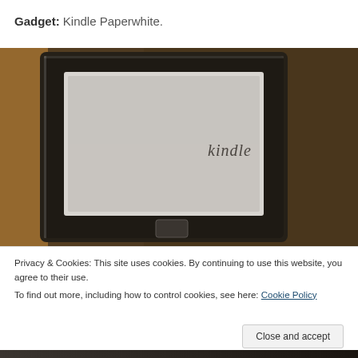Gadget: Kindle Paperwhite.
[Figure (photo): Close-up photo of a Kindle Paperwhite e-reader showing the device's screen with the 'kindle' logo visible, dark bezel frame, against a warm wooden surface background.]
Privacy & Cookies: This site uses cookies. By continuing to use this website, you agree to their use.
To find out more, including how to control cookies, see here: Cookie Policy
Close and accept